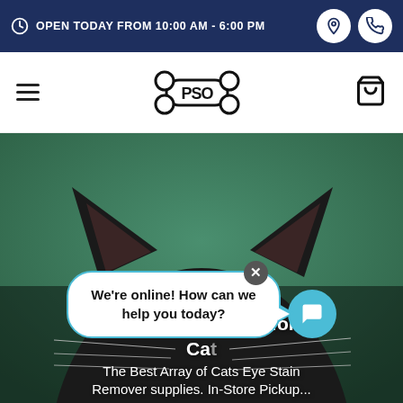OPEN TODAY FROM 10:00 AM - 6:00 PM
[Figure (logo): PSO pet store logo — dog bone shape with PSO text inside]
[Figure (photo): Close-up of a black/grey cat's head and pointed ears against a teal/green background, peeking from below]
Order Eye ... for Ca...
The Best Array of Cats Eye Stain Remover supplies. In-Store Pickup...
We're online! How can we help you today?